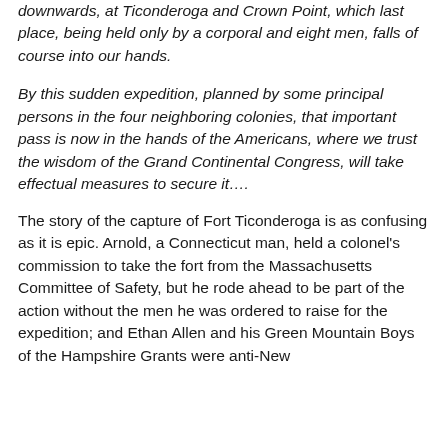downwards, at Ticonderoga and Crown Point, which last place, being held only by a corporal and eight men, falls of course into our hands.
By this sudden expedition, planned by some principal persons in the four neighboring colonies, that important pass is now in the hands of the Americans, where we trust the wisdom of the Grand Continental Congress, will take effectual measures to secure it….
The story of the capture of Fort Ticonderoga is as confusing as it is epic. Arnold, a Connecticut man, held a colonel's commission to take the fort from the Massachusetts Committee of Safety, but he rode ahead to be part of the action without the men he was ordered to raise for the expedition; and Ethan Allen and his Green Mountain Boys of the Hampshire Grants were anti-New